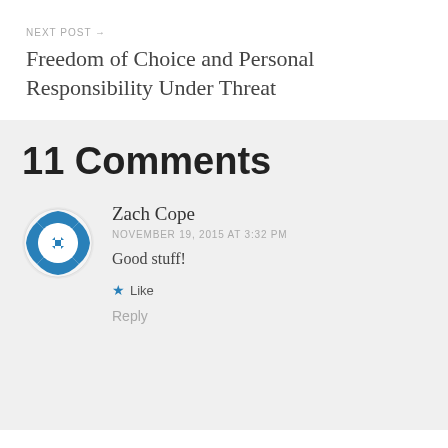NEXT POST →
Freedom of Choice and Personal Responsibility Under Threat
11 Comments
[Figure (illustration): Avatar icon: blue decorative geometric/snowflake pattern in a circle for user Zach Cope]
Zach Cope
NOVEMBER 19, 2015 AT 3:32 PM
Good stuff!
★ Like
Reply